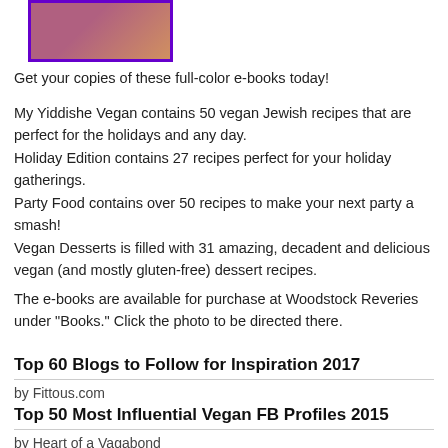[Figure (photo): Book cover images for vegan e-books with purple border]
Get your copies of these full-color e-books today!
My Yiddishe Vegan contains 50 vegan Jewish recipes that are perfect for the holidays and any day.
Holiday Edition contains 27 recipes perfect for your holiday gatherings.
Party Food contains over 50 recipes to make your next party a smash!
Vegan Desserts is filled with 31 amazing, decadent and delicious vegan (and mostly gluten-free) dessert recipes.
The e-books are available for purchase at Woodstock Reveries under "Books." Click the photo to be directed there.
Top 60 Blogs to Follow for Inspiration 2017
by Fittous.com
Top 50 Most Influential Vegan FB Profiles 2015
by Heart of a Vagabond